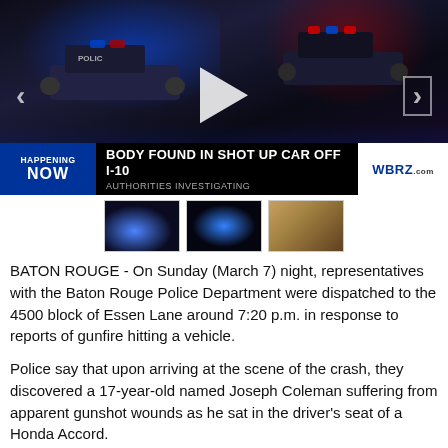[Figure (screenshot): News broadcast video screenshot showing police vehicles at night scene with blue and red lights. Lower third chyron reads: 'HAPPENING NOW | BODY FOUND IN SHOT UP CAR OFF I-10 | AUTHORITIES INVESTIGATING | WBRZ.com'. Navigation arrows visible on left and right sides.]
[Figure (screenshot): Three video thumbnail images showing night scenes with police lights.]
BATON ROUGE - On Sunday (March 7) night, representatives with the Baton Rouge Police Department were dispatched to the 4500 block of Essen Lane around 7:20 p.m. in response to reports of gunfire hitting a vehicle.
Police say that upon arriving at the scene of the crash, they discovered a 17-year-old named Joseph Coleman suffering from apparent gunshot wounds as he sat in the driver's seat of a Honda Accord.